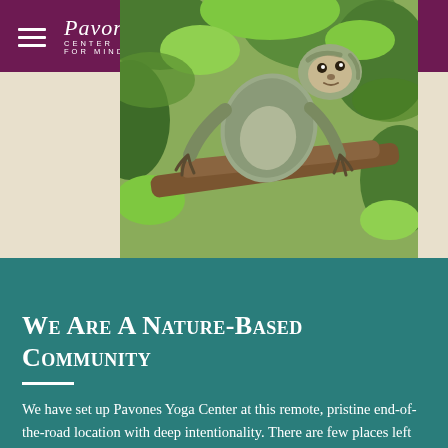Pavones Yoga Center for Mindfulness
[Figure (photo): A three-toed sloth hanging from a tree branch surrounded by green tropical foliage]
We Are A Nature-Based Community
We have set up Pavones Yoga Center at this remote, pristine end-of-the-road location with deep intentionality. There are few places left